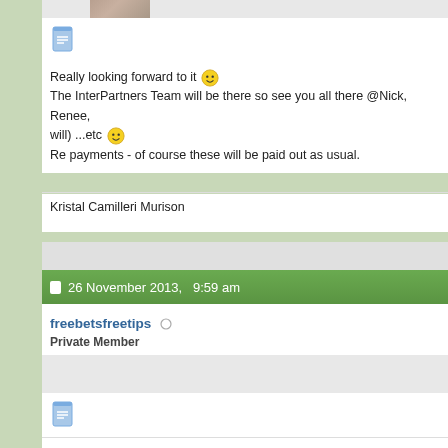[Figure (photo): Partial view of a user avatar photo strip at top]
[Figure (illustration): Quote/document icon in blue]
Really looking forward to it 😀 The InterPartners Team will be there so see you all there @Nick, Renee, will) ...etc 😀 Re payments - of course these will be paid out as usual.
Kristal Camilleri Murison
26 November 2013,  9:59 am
freebetsfreetips ○
Private Member
[Figure (illustration): Quote/document icon in blue]
Train and hotel booked. Looking forward to it. Last year was great fun an go full time. Hoping to pick up more good advice this year, as well as son say though that I found the almost naked women terribly degrading 😒. A empowering I feel.